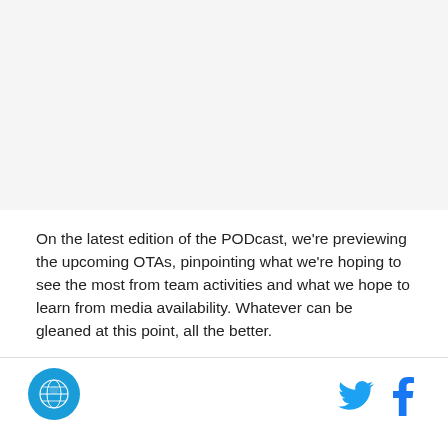[Figure (other): Blank/white image placeholder area at the top of the page]
On the latest edition of the PODcast, we're previewing the upcoming OTAs, pinpointing what we're hoping to see the most from team activities and what we hope to learn from media availability. Whatever can be gleaned at this point, all the better.
[Figure (logo): Circular blue logo with a horse/animal figure, appears to be a sports team or media outlet logo]
[Figure (other): Twitter bird icon in blue and Facebook 'f' icon in blue, social media sharing buttons]